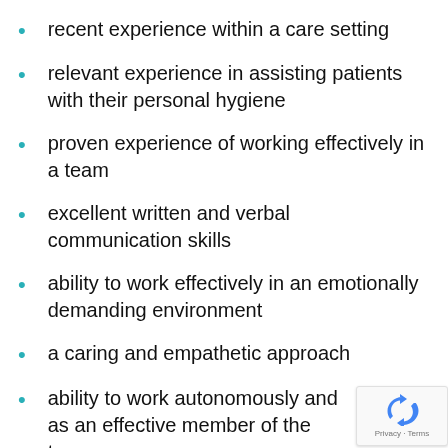recent experience within a care setting
relevant experience in assisting patients with their personal hygiene
proven experience of working effectively in a team
excellent written and verbal communication skills
ability to work effectively in an emotionally demanding environment
a caring and empathetic approach
ability to work autonomously and as an effective member of the team